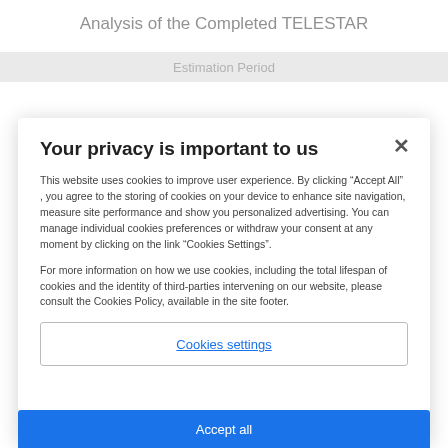Analysis of the Completed TELESTAR
Your privacy is important to us
This website uses cookies to improve user experience. By clicking “Accept All” , you agree to the storing of cookies on your device to enhance site navigation, measure site performance and show you personalized advertising. You can manage individual cookies preferences or withdraw your consent at any moment by clicking on the link “Cookies Settings”.
For more information on how we use cookies, including the total lifespan of cookies and the identity of third-parties intervening on our website, please consult the Cookies Policy, available in the site footer.
Cookies settings
Accept all